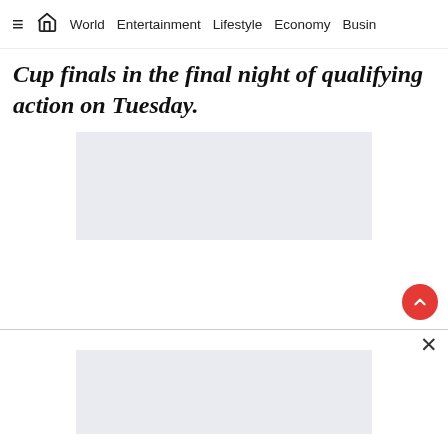≡  🏠  World  Entertainment  Lifestyle  Economy  Busin
Cup finals in the final night of qualifying action on Tuesday.
[Figure (other): Advertisement placeholder box (light gray rectangle)]
[Figure (other): Scroll-to-top button (red circle with upward chevron)]
[Figure (other): Advertisement placeholder box at bottom (light gray rectangle) with close (×) button]